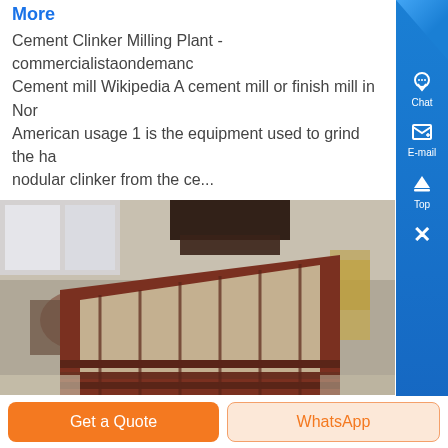More
Cement Clinker Milling Plant - commercialistaondemand... Cement mill Wikipedia A cement mill or finish mill in North American usage 1 is the equipment used to grind the hard nodular clinker from the ce...
[Figure (photo): Industrial photo of a cement milling/grinding machine or conveyor equipment viewed from close angle in a factory setting]
Get a Quote
WhatsApp